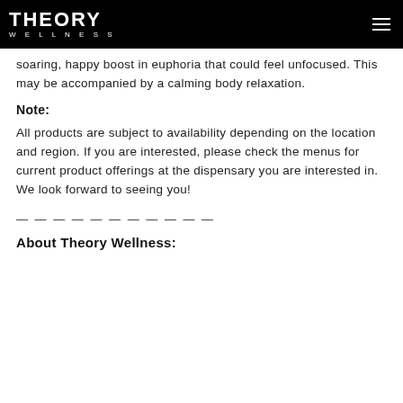THEORY WELLNESS
soaring, happy boost in euphoria that could feel unfocused. This may be accompanied by a calming body relaxation.
Note:
All products are subject to availability depending on the location and region. If you are interested, please check the menus for current product offerings at the dispensary you are interested in. We look forward to seeing you!
— — — — — — — — — — —
About Theory Wellness: